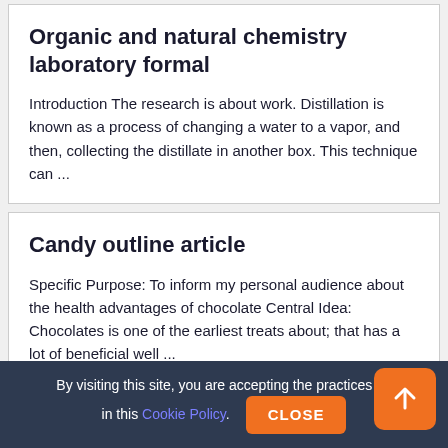Organic and natural chemistry laboratory formal
Introduction The research is about work. Distillation is known as a process of changing a water to a vapor, and then, collecting the distillate in another box. This technique can ...
Candy outline article
Specific Purpose: To inform my personal audience about the health advantages of chocolate Central Idea: Chocolates is one of the earliest treats about; that has a lot of beneficial well ...
By visiting this site, you are accepting the practices described in this Cookie Policy. CLOSE